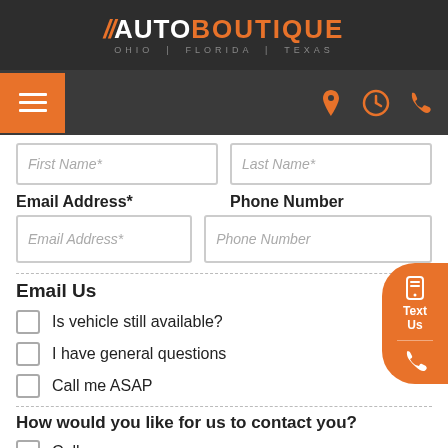[Figure (logo): Auto Boutique logo with orange slashes, white AUTO text, orange BOUTIQUE text, and gray OHIO | FLORIDA | TEXAS subtitle on dark background]
[Figure (screenshot): Navigation bar with orange hamburger menu on left and orange location, clock, phone icons on right]
First Name*
Last Name*
Email Address*
Phone Number
Email Address*
Phone Number
Email Us
Is vehicle still available?
I have general questions
Call me ASAP
How would you like for us to contact you?
Call